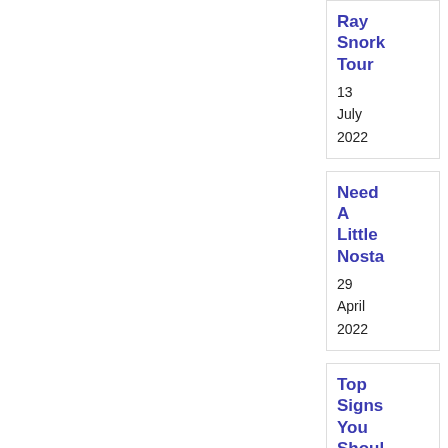Ray Snork Tour
13 July 2022
Need A Little Nosta
29 April 2022
Top Signs You Shoul